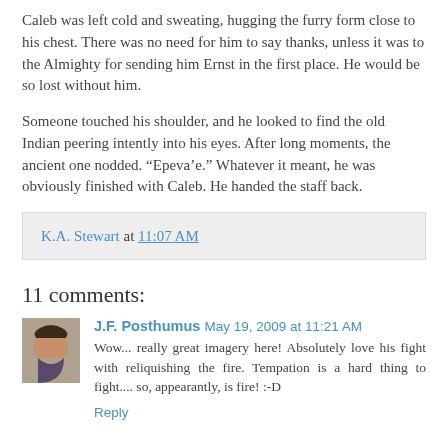Caleb was left cold and sweating, hugging the furry form close to his chest. There was no need for him to say thanks, unless it was to the Almighty for sending him Ernst in the first place. He would be so lost without him.
Someone touched his shoulder, and he looked to find the old Indian peering intently into his eyes. After long moments, the ancient one nodded. “Epeva’e.” Whatever it meant, he was obviously finished with Caleb. He handed the staff back.
K.A. Stewart at 11:07 AM
11 comments:
[Figure (photo): Small avatar photo of a woman with dark hair]
J.F. Posthumus May 19, 2009 at 11:21 AM
Wow... really great imagery here! Absolutely love his fight with reliquishing the fire. Tempation is a hard thing to fight.... so, appearantly, is fire! :-D
Reply